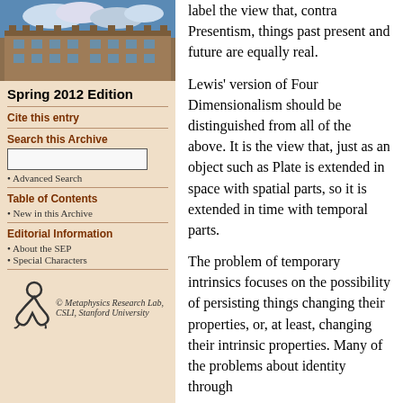[Figure (photo): Photograph of a historic stone university building with a courtyard, blue sky with clouds]
Spring 2012 Edition
Cite this entry
Search this Archive
Advanced Search
Table of Contents
New in this Archive
Editorial Information
About the SEP
Special Characters
[Figure (logo): Metaphysics Research Lab logo - stylized figure]
© Metaphysics Research Lab, CSLI, Stanford University
label the view that, contra Presentism, things past present and future are equally real.
Lewis' version of Four Dimensionalism should be distinguished from all of the above. It is the view that, just as an object such as Plate is extended in space with spatial parts, so it is extended in time with temporal parts.
The problem of temporary intrinsics focuses on the possibility of persisting things changing their properties, or, at least, changing their intrinsic properties. Many of the problems about identity through time are also here...